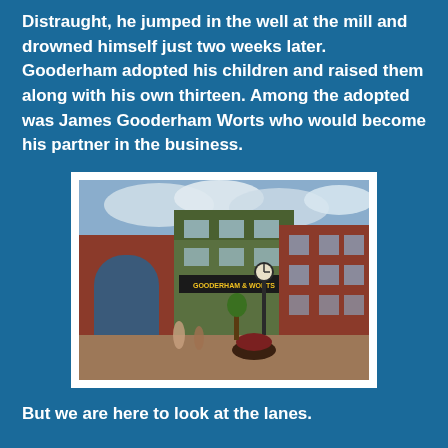Distraught, he jumped in the well at the mill and drowned himself just two weeks later. Gooderham adopted his children and raised them along with his own thirteen. Among the adopted was James Gooderham Worts who would become his partner in the business.
[Figure (photo): Photograph of the Gooderham and Worts distillery district, showing red brick buildings, a clock post in the courtyard, and people walking on a brick-paved plaza.]
But we are here to look at the lanes.
[Figure (photo): Partially visible photograph showing green foliage/trees, bottom portion of the page.]